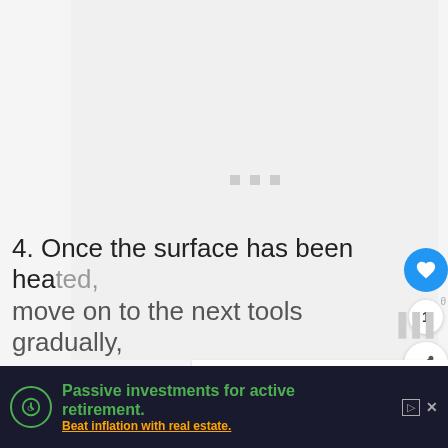[Figure (other): Large image placeholder with loading dots in center, white/light gray background]
[Figure (other): Floating social action buttons: heart/like button (blue circle with heart icon), like count '1', share button (white circle with share icon)]
[Figure (other): What's Next panel showing thumbnail image of a battery and text 'WHAT'S NEXT → Do You Know Who Makes...']
4. Once the surface has been heated, move on to the next tools gradually,
[Figure (other): Advertisement banner: Passive investments for active retirement. Beat inflation with real estate.]